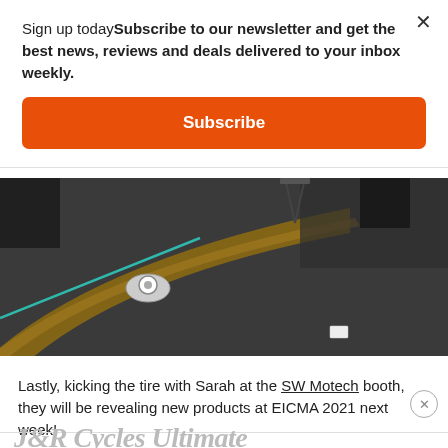Sign up todaySubscribe to our newsletter and get the best news, reviews and deals delivered to your inbox weekly.
Subscribe
[Figure (photo): Close-up photo of a tire or curved track surface on a dark concrete floor, with a teal/green line visible and a measuring device on the floor.]
Lastly, kicking the tire with Sarah at the SW Motech booth, they will be revealing new products at EICMA 2021 next week!
J&R Cycles Ultimate